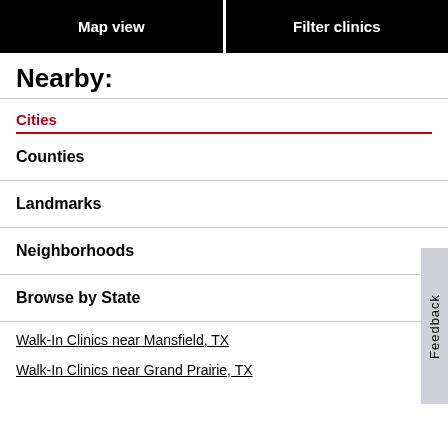Map view
Filter clinics
Nearby:
Cities
Counties
Landmarks
Neighborhoods
Browse by State
Walk-In Clinics near Mansfield, TX
Walk-In Clinics near Grand Prairie, TX